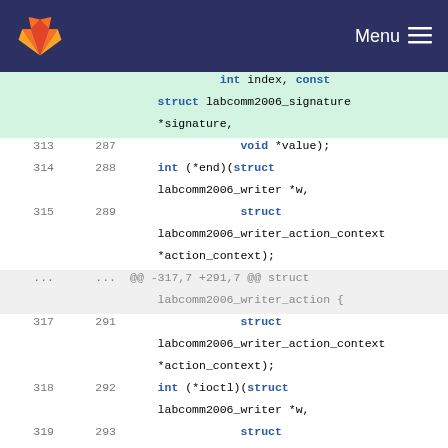Menu
[Figure (screenshot): GitLab code diff view showing C struct definitions for labcomm2006_writer with line numbers on left (old) and right (new). Lines include struct fields: void *value, int (*end), struct labcomm2006_writer_action_context *action_context, int (*ioctl), struct labcomm2006_writer_action_context *action_context, int index, struct labcomm2006_signature *signature. A hunk separator shows @@ -317,7 +291,7 @@ struct labcomm2006_writer_action {. Line 320 is highlighted in red (removed) and previous lines highlighted in green (added context).]